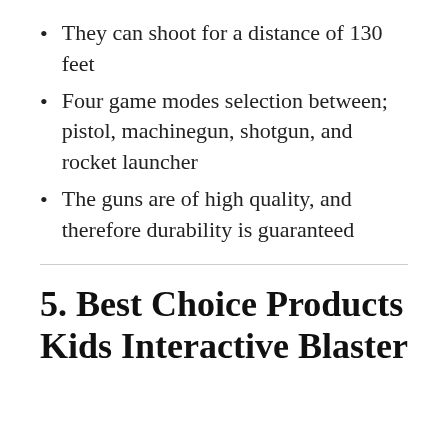They can shoot for a distance of 130 feet
Four game modes selection between; pistol, machinegun, shotgun, and rocket launcher
The guns are of high quality, and therefore durability is guaranteed
5. Best Choice Products Kids Interactive Blaster